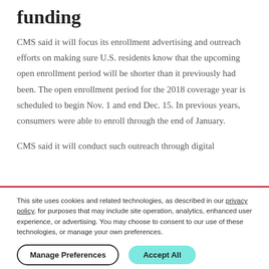funding
CMS said it will focus its enrollment advertising and outreach efforts on making sure U.S. residents know that the upcoming open enrollment period will be shorter than it previously had been. The open enrollment period for the 2018 coverage year is scheduled to begin Nov. 1 and end Dec. 15. In previous years, consumers were able to enroll through the end of January.
CMS said it will conduct such outreach through digital
This site uses cookies and related technologies, as described in our privacy policy, for purposes that may include site operation, analytics, enhanced user experience, or advertising. You may choose to consent to our use of these technologies, or manage your own preferences.